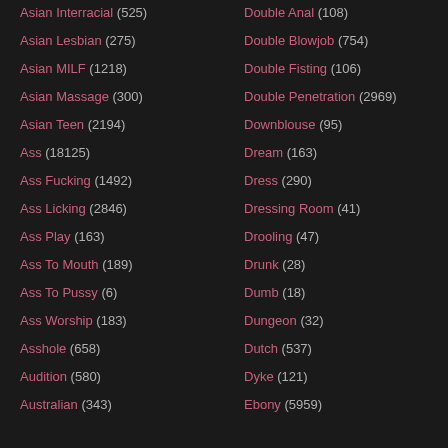Asian Interracial (525)
Asian Lesbian (275)
Asian MILF (1218)
Asian Massage (300)
Asian Teen (2194)
Ass (18125)
Ass Fucking (1492)
Ass Licking (2846)
Ass Play (163)
Ass To Mouth (189)
Ass To Pussy (6)
Ass Worship (183)
Asshole (658)
Audition (580)
Australian (343)
Double Anal (108)
Double Blowjob (754)
Double Fisting (106)
Double Penetration (2969)
Downblouse (95)
Dream (163)
Dress (290)
Dressing Room (41)
Drooling (47)
Drunk (28)
Dumb (18)
Dungeon (32)
Dutch (537)
Dyke (121)
Ebony (5959)